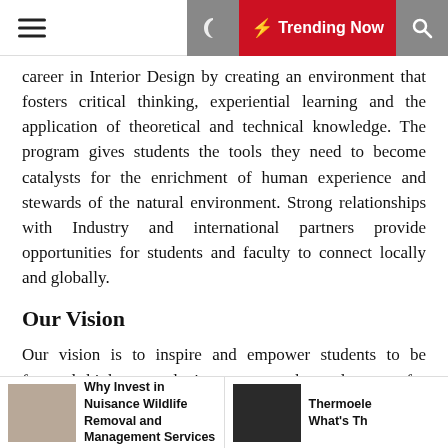Trending Now
career in Interior Design by creating an environment that fosters critical thinking, experiential learning and the application of theoretical and technical knowledge. The program gives students the tools they need to become catalysts for the enrichment of human experience and stewards of the natural environment. Strong relationships with Industry and international partners provide opportunities for students and faculty to connect locally and globally.
Our Vision
Our vision is to inspire and empower students to be forward-thinkers and innovators who advocate for thoughtful, meaningful and ethical design and to lead the advancement of the Interior Design profession.
NOTE: Please see the following links for information on
Why Invest in Nuisance Wildlife Removal and Management Services | Thermoele What's Th